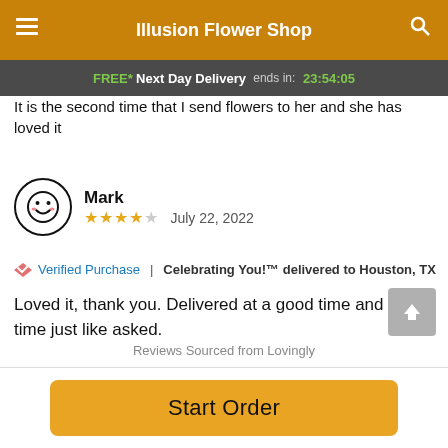Illusion Flower Shop
FREE* Next Day Delivery ends in: 23:54:05
It is the second time that I send flowers to her and she has loved it
Mark
★★★★☆ July 22, 2022
🎀 Verified Purchase | Celebrating You!™ delivered to Houston, TX
Loved it, thank you. Delivered at a good time and on time just like asked.
Reviews Sourced from Lovingly
Start Order